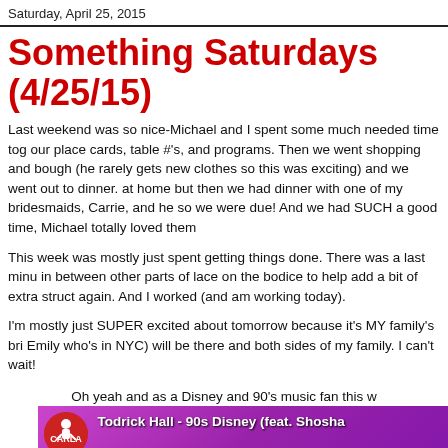Saturday, April 25, 2015
Something Saturdays (4/25/15)
Last weekend was so nice-Michael and I spent some much needed time together doing our place cards, table #'s, and programs. Then we went shopping and bought (he rarely gets new clothes so this was exciting) and we went out to dinner. at home but then we had dinner with one of my bridesmaids, Carrie, and he so we were due! And we had SUCH a good time, Michael totally loved them
This week was mostly just spent getting things done. There was a last minu in between other parts of lace on the bodice to help add a bit of extra struct again. And I worked (and am working today).
I'm mostly just SUPER excited about tomorrow because it's MY family's bri Emily who's in NYC) will be there and both sides of my family. I can't wait!
Oh yeah and as a Disney and 90's music fan this w
[Figure (screenshot): YouTube video thumbnail for 'Todrick Hall - 90s Disney (feat. Shosha...' showing colorful 90s Disney themed graphic with large green '90's' text and teal 'DIS' text on purple background with scattered tan sticks, a person's face visible, and YouTube logo.]